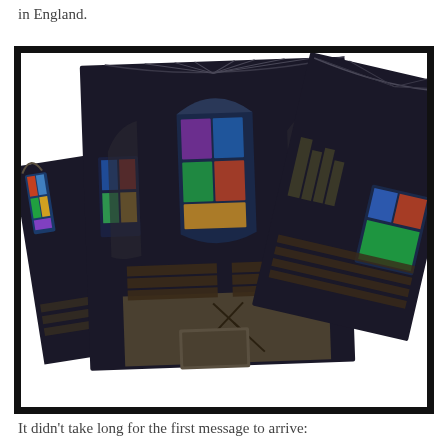in England.
[Figure (photo): Composite panoramic photograph of a cathedral interior showing Gothic fan vaulting, stained glass windows, choir stalls, and nave from an elevated viewpoint. Three overlapping photographs arranged in a fan-like spread.]
It didn't take long for the first message to arrive: